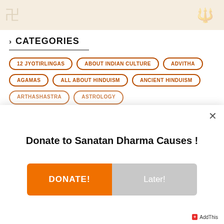[Figure (screenshot): Website banner with decorative symbols on beige/cream background]
> CATEGORIES
12 JYOTIRLINGAS
ABOUT INDIAN CULTURE
ADVITHA
AGAMAS
ALL ABOUT HINDUISM
ANCIENT HINDUISM
Donate to Sanatan Dharma Causes !
DONATE!
Later!
AddThis